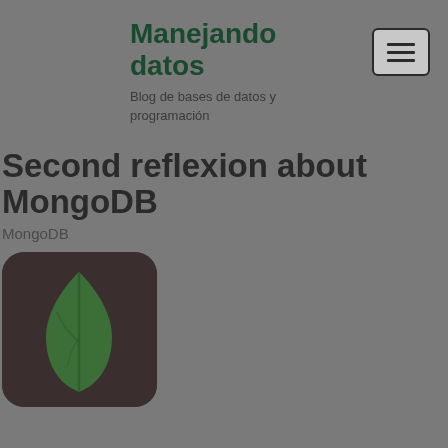Manejando datos
Blog de bases de datos y programación
Second reflexion about MongoDB
MongoDB
[Figure (logo): MongoDB leaf logo on dark rounded square background]